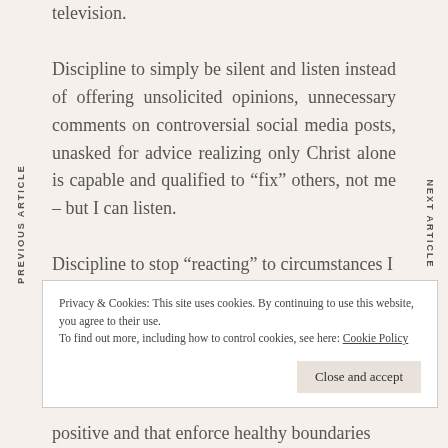television.
Discipline to simply be silent and listen instead of offering unsolicited opinions, unnecessary comments on controversial social media posts, unasked for advice realizing only Christ alone is capable and qualified to “fix” others, not me – but I can listen.
Discipline to stop “reacting” to circumstances I
Privacy & Cookies: This site uses cookies. By continuing to use this website, you agree to their use.
To find out more, including how to control cookies, see here: Cookie Policy
positive and that enforce healthy boundaries